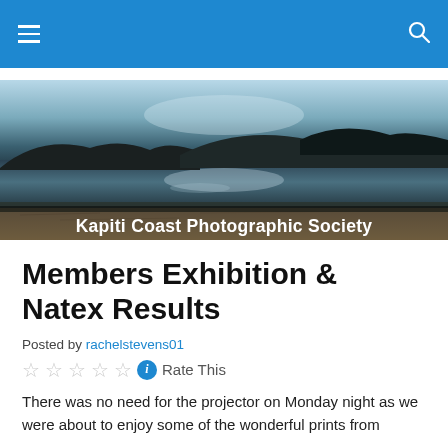Navigation bar with hamburger menu and search icon
[Figure (photo): Banner image of Kapiti Coast seascape with dark silhouetted islands and reflective water, with text 'Kapiti Coast Photographic Society']
Members Exhibition & Natex Results
Posted by rachelstevens01
☆☆☆☆☆ ℹ Rate This
There was no need for the projector on Monday night as we were about to enjoy some of the wonderful prints from